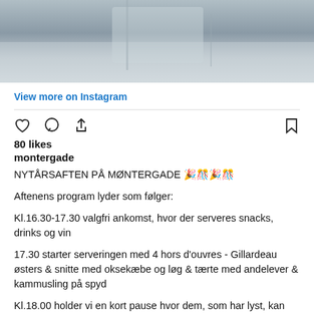[Figure (photo): Blurred photo of glassware/drinks on a surface, shown as top portion of an Instagram post]
View more on Instagram
80 likes
montergade
NYTÅRSAFTEN PÅ MØNTERGADE 🎉🎊🎉🎊

Aftenens program lyder som følger:

Kl.16.30-17.30 valgfri ankomst, hvor der serveres snacks, drinks og vin

17.30 starter serveringen med 4 hors d'ouvres - Gillardeau østers & snitte med oksekæbe og løg & tærte med andelever & kammusling på spyd

Kl.18.00 holder vi en kort pause hvor dem, som har lyst, kan høre Dronningens nytårstale